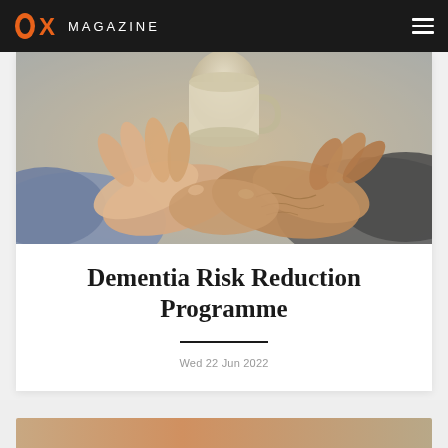OX MAGAZINE
[Figure (photo): Two pairs of hands clasped together, one younger and one older (wrinkled), with a ceramic mug held in the background. Warm tones suggesting care and companionship.]
Dementia Risk Reduction Programme
Wed 22 Jun 2022